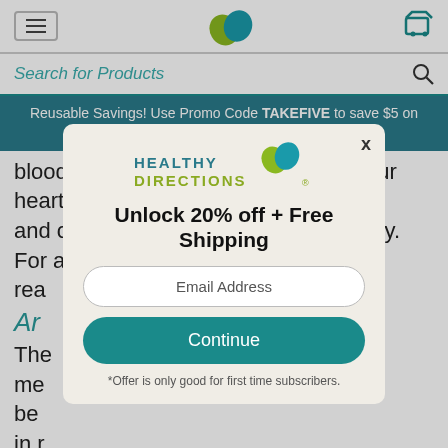Healthy Directions — navigation header with hamburger menu, logo, and cart icon
Search for Products
Reusable Savings! Use Promo Code TAKEFIVE to save $5 on orders all summer long! | Shop Now
blood vessels so blood can flow to your heart, muscles, and other tissues throughout your body. For all these rea... cor... cho...
Ar...
The... me... be... in r...
[Figure (screenshot): Modal popup for Healthy Directions newsletter signup: logo, 'Unlock 20% off + Free Shipping', email address input, Continue button, footnote about first-time subscribers, and X close button.]